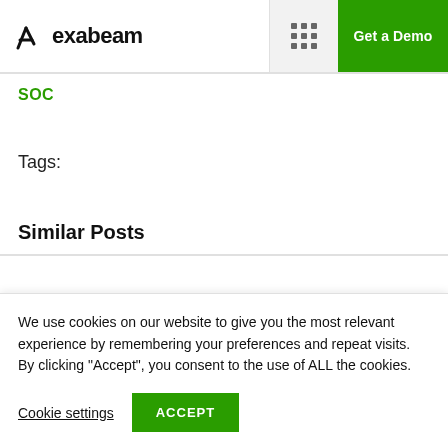exabeam | Get a Demo
SOC
Tags:
Similar Posts
We use cookies on our website to give you the most relevant experience by remembering your preferences and repeat visits. By clicking “Accept”, you consent to the use of ALL the cookies.
Cookie settings | ACCEPT